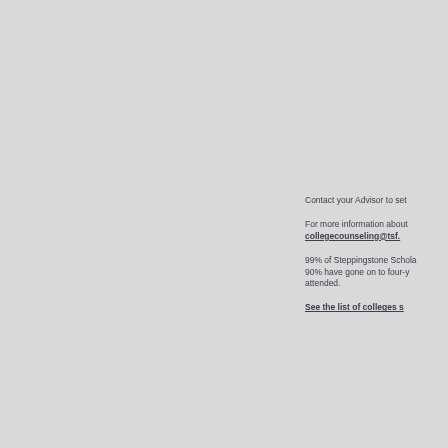Contact your Advisor to set
For more information about collegecounseling@tsf.
99% of Steppingstone Schola 90% have gone on to four-y attended.
See the list of colleges s